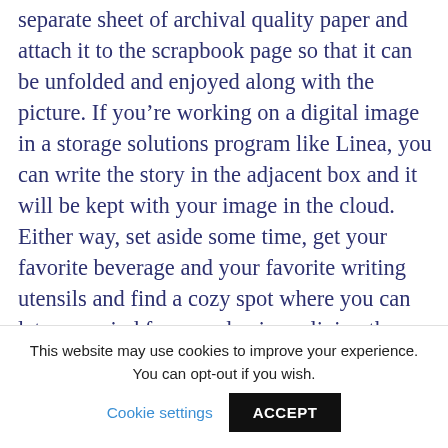separate sheet of archival quality paper and attach it to the scrapbook page so that it can be unfolded and enjoyed along with the picture. If you're working on a digital image in a storage solutions program like Linea, you can write the story in the adjacent box and it will be kept with your image in the cloud. Either way, set aside some time, get your favorite beverage and your favorite writing utensils and find a cozy spot where you can let your mind focus and enjoy reliving the events of the photographs.
If you took the photograph, ask yourself
This website may use cookies to improve your experience. You can opt-out if you wish. Cookie settings ACCEPT